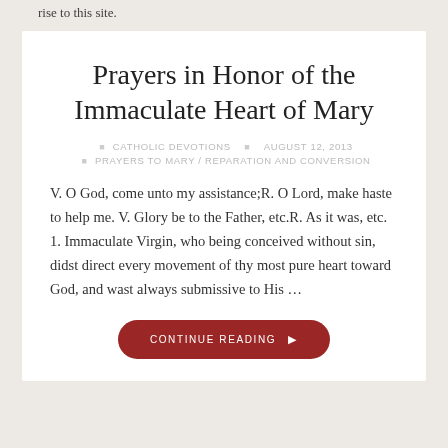rise to this site.
Prayers in Honor of the Immaculate Heart of Mary
CATHOLIC DEVOTIONS   AUGUST 12, 2013   PRAYERS TO MARY / REPARATION AND CONVERSION
V. O God, come unto my assistance;R. O Lord, make haste to help me. V. Glory be to the Father, etc.R. As it was, etc. 1. Immaculate Virgin, who being conceived without sin, didst direct every movement of thy most pure heart toward God, and wast always submissive to His …
CONTINUE READING